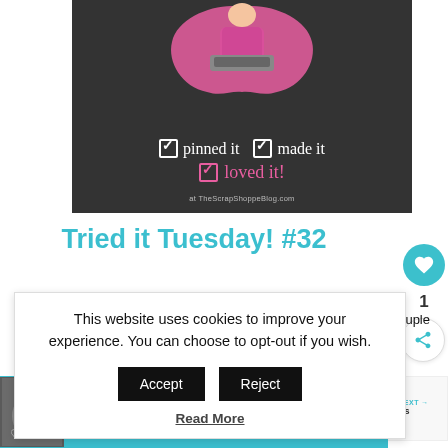[Figure (photo): Blog header image for TheScrapShoppeBlog.com showing a woman in pink apron with checkboxes saying 'pinned it, made it, loved it!' on dark chalkboard background]
Tried it Tuesday! #32
This website uses cookies to improve your experience. You can choose to opt-out if you wish.
Accept
Reject
Read More
e a couple
ests
flo
vith me while I
1
WHAT'S NEXT → Printables
[Figure (photo): Advertisement banner: cat photo on left, text BEST FRIENDS FOREVER in white on teal background with heart decorations]